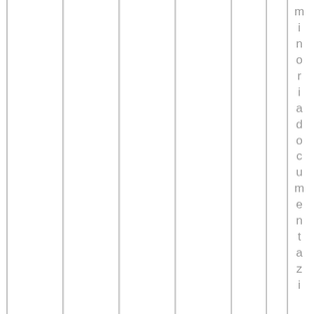[Figure (other): Vertical lines forming a ruled/grid background with rotated text reading 'minoriadocumentazi' along the right edge]
minoriadocumentazi